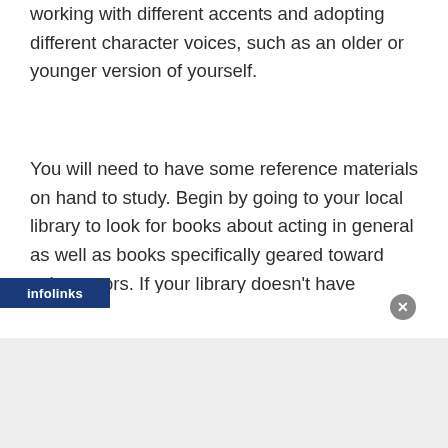working with different accents and adopting different character voices, such as an older or younger version of yourself.
You will need to have some reference materials on hand to study. Begin by going to your local library to look for books about acting in general as well as books specifically geared toward voice actors. If your library doesn't have sufficient material, consult local bookstores and look for books sold online to build up your reference shelf.
Sign up for local acting classes and try to find a teacher or who has time to train you privately to develop